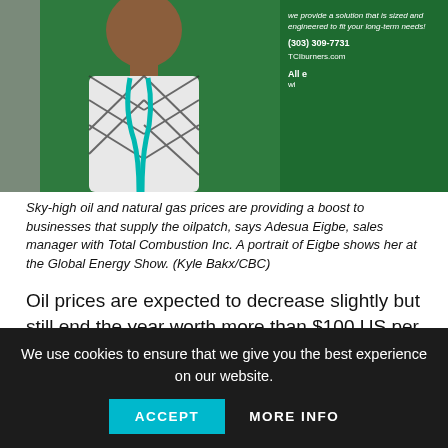[Figure (photo): A person wearing a patterned top and teal lanyard stands in front of a green exhibition banner (Total Combustion Inc., TCIburners.com, phone 303-309-7731) at the Global Energy Show.]
Sky-high oil and natural gas prices are providing a boost to businesses that supply the oilpatch, says Adesua Eigbe, sales manager with Total Combustion Inc. A portrait of Eigbe shows her at the Global Energy Show. (Kyle Bakx/CBC)
Oil prices are expected to decrease slightly but still end the year worth more than $100 US per barrel, said Liam O'Brien, a Calgary-based analyst with Sproule, an energy consultancy.
Gasoline and diesel prices could fall over the summer months if enough drivers are deterred by the cost of fuel to ditch their
We use cookies to ensure that we give you the best experience on our website.